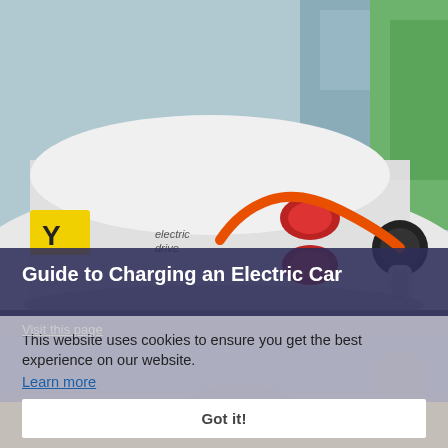[Figure (photo): Close-up photo of a white Smart electric car being charged, with an orange charging cable plugged in, red tail lights visible, and a yellow UK license plate with letter Y]
Guide to Charging an Electric Car
Visit this page
This website uses cookies to ensure you get the best experience on our website.
Learn more
Got it!
[Figure (photo): Partial bottom photo of electric vehicles in a parking area]
APPLY TODAY